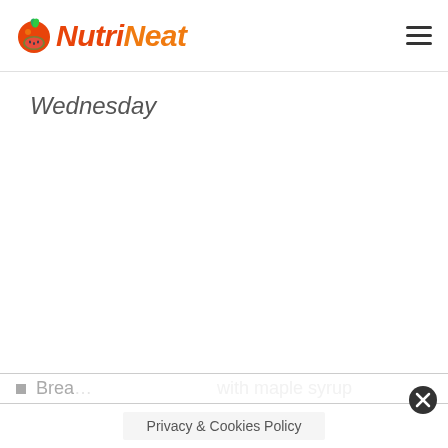NutriNeat
Wednesday
Privacy & Cookies Policy
Brea... with maple syrup